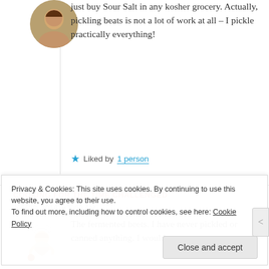just buy Sour Salt in any kosher grocery. Actually, pickling beats is not a lot of work at all – I pickle practically everything!
Liked by 1 person
COOKING FOR THE TIME CHALLENGED
July 28, 2016 at 5:00 AM
The fermented beets. I have never pickled or canned anything. I would like to give fermentation a...
Privacy & Cookies: This site uses cookies. By continuing to use this website, you agree to their use. To find out more, including how to control cookies, see here: Cookie Policy